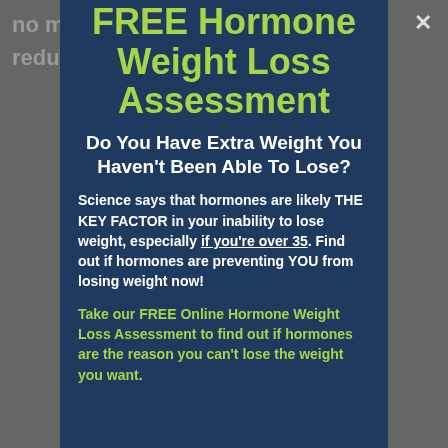FREE Hormone Weight Loss Assessment
Do You Have Extra Weight You Haven't Been Able To Lose?
Science says that hormones are likely THE KEY FACTOR in your inability to lose weight, especially if you're over 35. Find out if hormones are preventing YOU from losing weight now!
Take our FREE Online Hormone Weight Loss Assessment to find out if hormones are the reason you can't lose the weight you want.